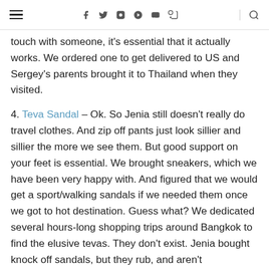Navigation bar with hamburger menu, social icons (f, t, instagram, pinterest, vimeo, rss), and search icon
touch with someone, it's essential that it actually works. We ordered one to get delivered to US and Sergey's parents brought it to Thailand when they visited.
4. Teva Sandal – Ok. So Jenia still doesn't really do travel clothes. And zip off pants just look sillier and sillier the more we see them. But good support on your feet is essential. We brought sneakers, which we have been very happy with. And figured that we would get a sport/walking sandals if we needed them once we got to hot destination. Guess what? We dedicated several hours-long shopping trips around Bangkok to find the elusive tevas. They don't exist. Jenia bought knock off sandals, but they rub, and aren't comfortable. I